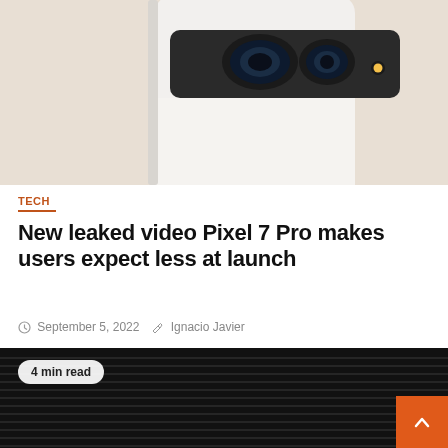[Figure (photo): Close-up of white Google Pixel 7 Pro smartphone showing triple camera system on beige/cream background]
TECH
New leaked video Pixel 7 Pro makes users expect less at launch
September 5, 2022  Ignacio Javier
[Figure (photo): Dark image of AMD Radeon GPU product presentation with a person standing at podium in front of large Radeon sign. Badge shows '4 min read'.]